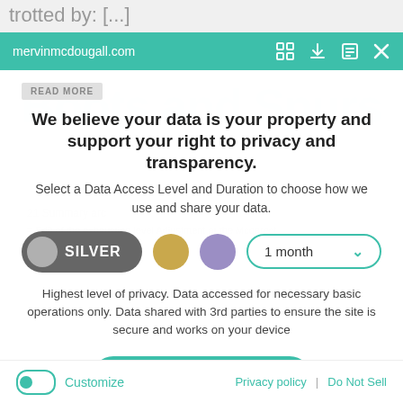trotted by: [...]
mervinmcdougall.com
We believe your data is your property and support your right to privacy and transparency.
Select a Data Access Level and Duration to choose how we use and share your data.
SILVER | [gold circle] | [purple circle] | 1 month
Highest level of privacy. Data accessed for necessary basic operations only. Data shared with 3rd parties to ensure the site is secure and works on your device
Save my preferences
Customize
Privacy policy  |  Do Not Sell